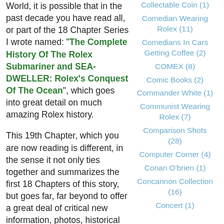World, it is possible that in the past decade you have read all, or part of the 18 Chapter Series I wrote named: "The Complete History Of The Rolex Submariner and SEA-DWELLER: Rolex's Conquest Of The Ocean", which goes into great detail on much amazing Rolex history.
This 19th Chapter, which you are now reading is different, in the sense it not only ties together and summarizes the first 18 Chapters of this story, but goes far, far beyond to offer a great deal of critical new information, photos, historical facts and valuable insight into the zeitgeist of the Rolex Submariner & SEA-DWELLER. In doing so, for
Collectable Coin (1)
Comedian Wearing Rolex (11)
Comedians In Cars Getting Coffee (2)
COMEX (8)
Comic Books (2)
Commander White (1)
Communist Wearing Rolex (7)
Comparison Shots (28)
Computer Corner (4)
Conan O'brien (1)
Concannon Collection (16)
Concert (1)